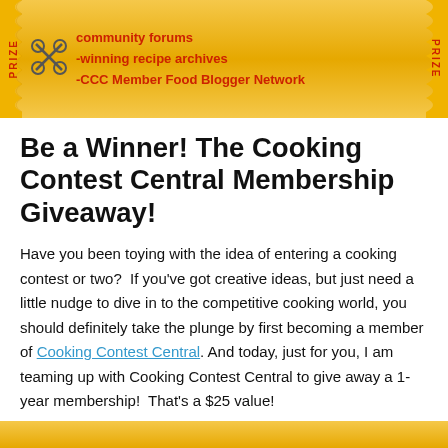[Figure (illustration): A golden ticket banner with serrated/notched edges, red side text labels, decorative scissors icon, and text reading 'community forums -winning recipe archives -CCC Member Food Blogger Network' in dark red on a gold background.]
Be a Winner! The Cooking Contest Central Membership Giveaway!
Have you been toying with the idea of entering a cooking contest or two?  If you've got creative ideas, but just need a little nudge to dive in to the competitive cooking world, you should definitely take the plunge by first becoming a member of Cooking Contest Central. And today, just for you, I am teaming up with Cooking Contest Central to give away a 1-year membership!  That's a $25 value!